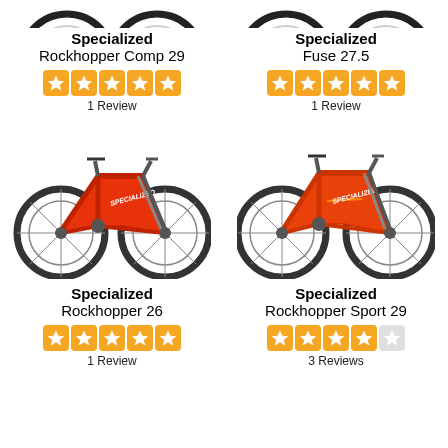[Figure (photo): Partial view of a Specialized Rockhopper Comp 29 mountain bike (top portion cropped)]
Specialized
Rockhopper Comp 29
[Figure (other): 5 orange star rating]
1 Review
[Figure (photo): Partial view of a Specialized Fuse 27.5 mountain bike (top portion cropped)]
Specialized
Fuse 27.5
[Figure (other): 5 orange star rating]
1 Review
[Figure (photo): Red/orange Specialized Rockhopper 26 mountain bike, full view]
Specialized
Rockhopper 26
[Figure (other): 5 orange star rating]
1 Review
[Figure (photo): Red/orange Specialized Rockhopper Sport 29 mountain bike, full view]
Specialized
Rockhopper Sport 29
[Figure (other): 4 orange stars and 1 empty star rating]
3 Reviews